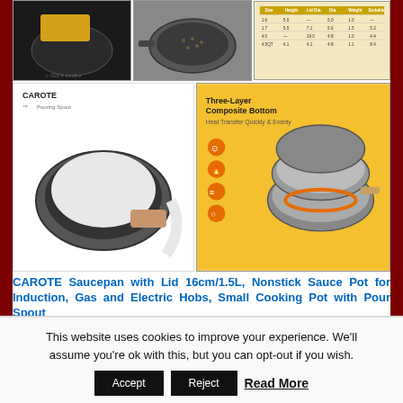[Figure (photo): Three product photos of CAROTE saucepan - dark pan with yellow cloth, pan with seeds, and a size chart table]
[Figure (photo): CAROTE branded saucepan pouring spout image and Three-Layer Composite Bottom product infographic on yellow background]
CAROTE Saucepan with Lid 16cm/1.5L, Nonstick Sauce Pot for Induction, Gas and Electric Hobs, Small Cooking Pot with Pour Spout
★★★★★ (7858) ✓prime £16.99 (as of August 21, 2022 22:07 GMT +00:00 - More info) Safe Nonstick Granite: Nonstick granite material, SGS approved with 100% free of PFOS, PFOA, lead, and cadmium, and less oil needed & less smoke released, makes our saucepan cooking is always safer and healthy
This website uses cookies to improve your experience. We'll assume you're ok with this, but you can opt-out if you wish. Accept Reject Read More